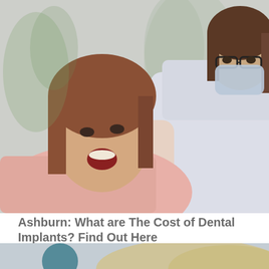[Figure (photo): A female dentist wearing glasses and a surgical mask, dressed in a white lab coat and gloves, examining a young female patient with long brown hair who is reclined in a dental chair with her mouth open. The dentist holds a dental tool near the patient's mouth. Background shows soft greenery.]
Ashburn: What are The Cost of Dental Implants? Find Out Here
Dental Implants | Search ads
[Figure (photo): Partial bottom image showing what appears to be a dental setting with a person with blonde hair, cropped at the bottom of the page.]